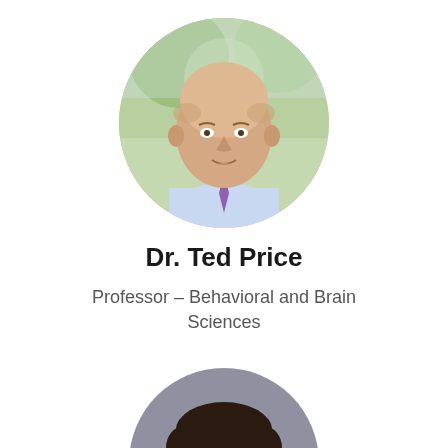[Figure (photo): Circular headshot of Dr. Ted Price, a middle-aged man with a shaved head wearing a light blue shirt and purple tie, photographed outdoors with green foliage in background]
Dr. Ted Price
Professor – Behavioral and Brain Sciences
[Figure (photo): Circular headshot of a man with dark hair, partially visible, photographed against a grey background]